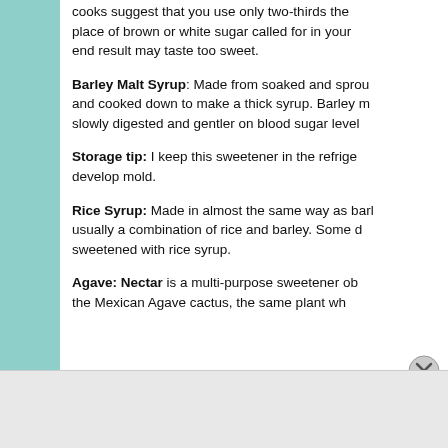cooks suggest that you use only two-thirds the amount in place of brown or white sugar called for in your recipe, or the end result may taste too sweet.
Barley Malt Syrup: Made from soaked and sprouted barley and cooked down to make a thick syrup. Barley malt is slowly digested and gentler on blood sugar levels.
Storage tip: I keep this sweetener in the refrigerator so it won't develop mold.
Rice Syrup: Made in almost the same way as barley malt, usually a combination of rice and barley. Some desserts are sweetened with rice syrup.
Agave: Nectar is a multi-purpose sweetener obtained from the Mexican Agave cactus, the same plant wh...
Advertisements